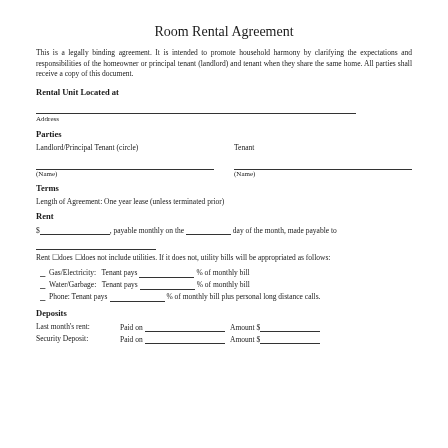Room Rental Agreement
This is a legally binding agreement. It is intended to promote household harmony by clarifying the expectations and responsibilities of the homeowner or principal tenant (landlord) and tenant when they share the same home. All parties shall receive a copy of this document.
Rental Unit Located at
Address
Parties
Landlord/Principal Tenant (circle)    Tenant
(Name)    (Name)
Terms
Length of Agreement: One year lease (unless terminated prior)
Rent
$_____________, payable monthly on the _________ day of the month, made payable to _______________________________
Rent ☐does ☐does not include utilities. If it does not, utility bills will be appropriated as follows:
Gas/Electricity:    Tenant pays ___________% of monthly bill
Water/Garbage:    Tenant pays ___________% of monthly bill
Phone: Tenant pays ___________% of monthly bill plus personal long distance calls.
Deposits
Last month's rent:    Paid on _____________________    Amount $_____________
Security Deposit:    Paid on _____________________    Amount $_____________